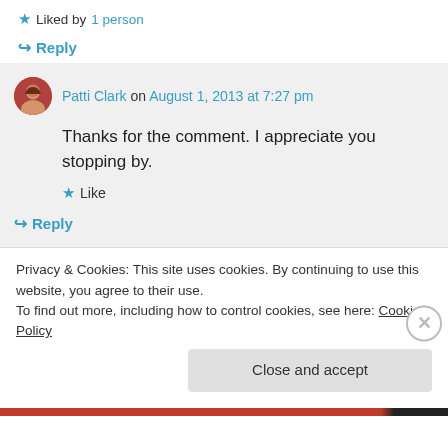★ Liked by 1 person
↪ Reply
Patti Clark on August 1, 2013 at 7:27 pm
Thanks for the comment. I appreciate you stopping by.
★ Like
↪ Reply
Privacy & Cookies: This site uses cookies. By continuing to use this website, you agree to their use.
To find out more, including how to control cookies, see here: Cookie Policy
Close and accept